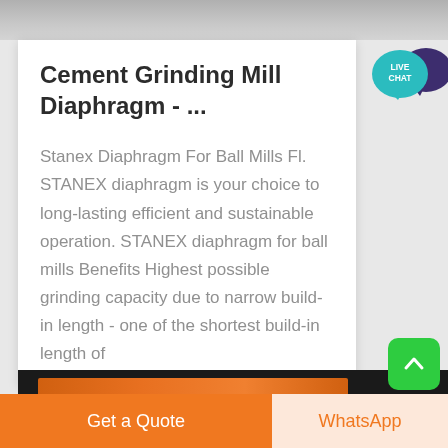[Figure (photo): Top image strip showing industrial/mechanical surface texture in gray tones]
Cement Grinding Mill Diaphragm - ...
Stanex Diaphragm For Ball Mills Fl. STANEX diaphragm is your choice to long-lasting efficient and sustainable operation. STANEX diaphragm for ball mills Benefits Highest possible grinding capacity due to narrow build-in length - one of the shortest build-in length of
[Figure (photo): Bottom image strip showing industrial orange/red machinery against dark background]
Get a Quote
WhatsApp